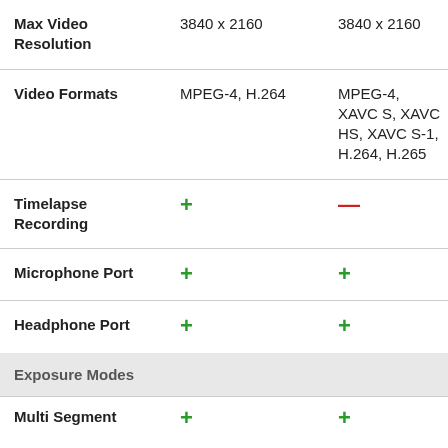| Feature | Camera 1 | Camera 2 |
| --- | --- | --- |
| Max Video Resolution | 3840 x 2160 | 3840 x 2160 |
| Video Formats | MPEG-4, H.264 | MPEG-4, XAVC S, XAVC HS, XAVC S-1, H.264, H.265 |
| Timelapse Recording | + | — |
| Microphone Port | + | + |
| Headphone Port | + | + |
Exposure Modes
| Feature | Camera 1 | Camera 2 |
| --- | --- | --- |
| Multi Segment | + | + |